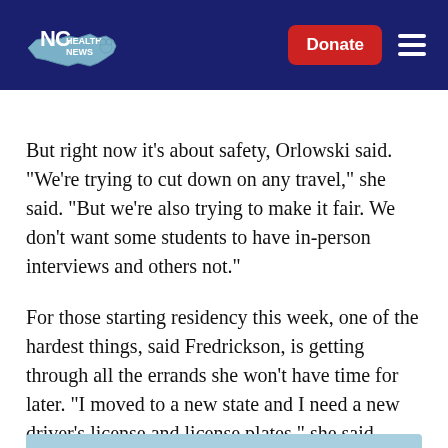NC Health News
But right now it’s about safety, Orlowski said. “We’re trying to cut down on any travel,” she said. “But we’re also trying to make it fair. We don’t want some students to have in-person interviews and others not.”
For those starting residency this week, one of the hardest things, said Fredrickson, is getting through all the errands she won’t have time for later. “I moved to a new state and I need a new driver’s license and license plates,” she said. “And the DMV is still closed.”